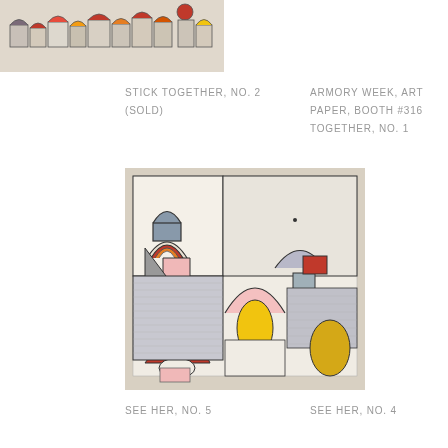[Figure (photo): Partial view of an artwork showing colorful abstract shapes resembling small buildings or houses with arched and rectangular forms in red, yellow, blue, and other colors against a light background, cropped at top-right.]
STICK TOGETHER, NO. 2
(SOLD)
ARMORY WEEK, ART
PAPER, BOOTH #316
TOGETHER, NO. 1
[Figure (photo): An abstract artwork on paper featuring geometric and organic shapes including arches, semicircles, and rounded forms in colors such as red, orange, pink, yellow, gray, and white, outlined in black on a light gray/beige background.]
SEE HER, NO. 5
SEE HER, NO. 4